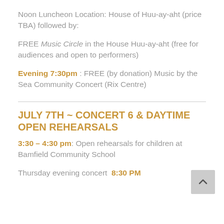Noon Luncheon Location: House of Huu-ay-aht (price TBA) followed by:
FREE Music Circle in the House Huu-ay-aht (free for audiences and open to performers)
Evening 7:30pm : FREE (by donation) Music by the Sea Community Concert (Rix Centre)
JULY 7TH ~ CONCERT 6 & DAYTIME OPEN REHEARSALS
3:30 – 4:30 pm: Open rehearsals for children at Bamfield Community School
Thursday evening concert  8:30 PM